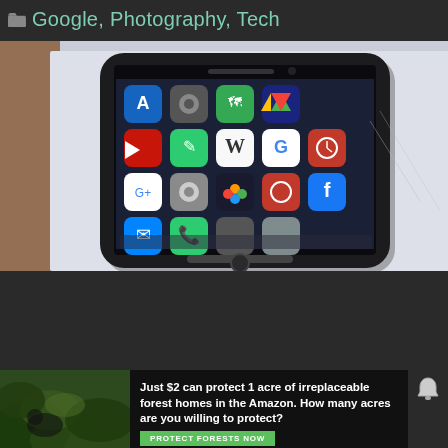Google, Photography, Tech
[Figure (photo): A smartphone (iPhone) lying on a white paper surface with various app icons visible on the screen, including Google, YouTube, Wikipedia, Facebook, Maps, and other apps. Brown leather surface visible on the left edge.]
[Figure (photo): Advertisement banner: 'Just $2 can protect 1 acre of irreplaceable forest homes in the Amazon. How many acres are you willing to protect?' with a green PROTECT FORESTS NOW button, left side shows forest/nature imagery.]